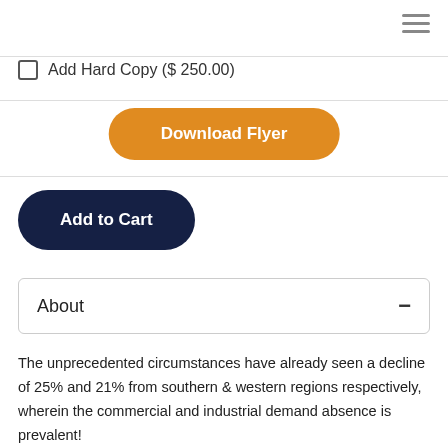Add Hard Copy ($ 250.00)
Download Flyer
Add to Cart
About
The unprecedented circumstances have already seen a decline of 25% and 21% from southern & western regions respectively, wherein the commercial and industrial demand absence is prevalent!